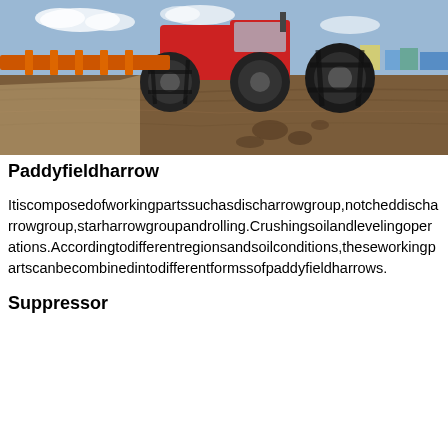[Figure (photo): A large red tractor with massive black tires plowing/harrowing a dirt field. The tractor is pulling agricultural equipment (harrow/disc) across cultivated brown soil. Blue sky visible in background with some structures.]
Paddyfieldharrow
Itiscomposedofworkingpartssuchasdischarrowgroup,notcheddischarrowgroup,starharrowgroupandrolling.Crushingsoilandlevelingoperations.Accordingtodifferentregionsandsoilconditions,theseworkingpartscanbecombinedintodifferentformssofpaddyfieldharrows.
Suppressor